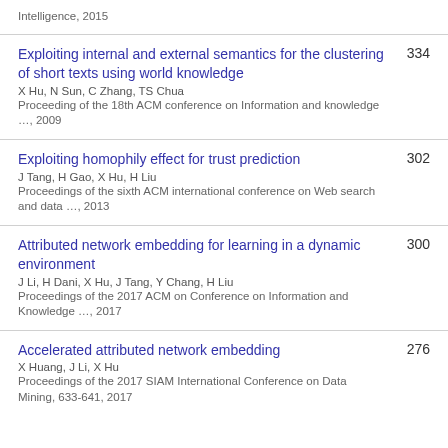Intelligence, 2015
Exploiting internal and external semantics for the clustering of short texts using world knowledge
X Hu, N Sun, C Zhang, TS Chua
Proceeding of the 18th ACM conference on Information and knowledge …, 2009
334
Exploiting homophily effect for trust prediction
J Tang, H Gao, X Hu, H Liu
Proceedings of the sixth ACM international conference on Web search and data …, 2013
302
Attributed network embedding for learning in a dynamic environment
J Li, H Dani, X Hu, J Tang, Y Chang, H Liu
Proceedings of the 2017 ACM on Conference on Information and Knowledge …, 2017
300
Accelerated attributed network embedding
X Huang, J Li, X Hu
Proceedings of the 2017 SIAM International Conference on Data Mining, 633-641, 2017
276